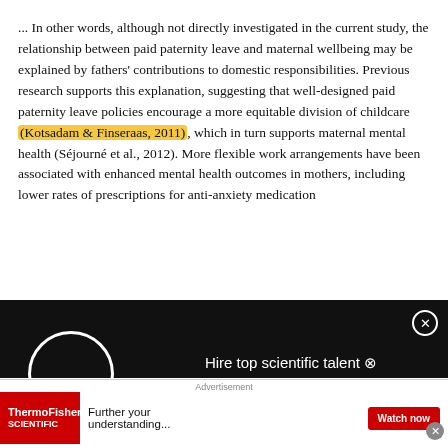... In other words, although not directly investigated in the current study, the relationship between paid paternity leave and maternal wellbeing may be explained by fathers' contributions to domestic responsibilities. Previous research supports this explanation, suggesting that well-designed paid paternity leave policies encourage a more equitable division of childcare (Kotsadam & Finseraas, 2011), which in turn supports maternal mental health (Séjourné et al., 2012). More flexible work arrangements have been associated with enhanced mental health outcomes in mothers, including lower rates of prescriptions for anti-anxiety medication
[Figure (screenshot): ResearchGate advertisement overlay on black background with circle loading icon and text 'Hire top scientific talent with ResearchGate' and a close button]
Article  Full-text available
Dec 2021 · J Child Fam Stud
Sofia I. Cardenas · Michaela Francesca Garbisino
[Figure (screenshot): ThermoFisher Scientific advertisement banner at bottom: 'Further your understanding...' with Watch now button]